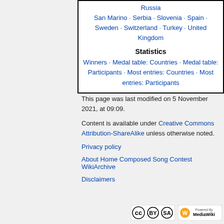Russia
San Marino · Serbia · Slovenia · Spain · Sweden · Switzerland · Turkey · United Kingdom
Statistics
Winners · Medal table: Countries · Medal table: Participants · Most entries: Countries · Most entries: Participants
This page was last modified on 5 November 2021, at 09:09.
Content is available under Creative Commons Attribution-ShareAlike unless otherwise noted.
Privacy policy
About Home Composed Song Contest WikiArchive
Disclaimers
[Figure (logo): Creative Commons BY-SA license badge]
[Figure (logo): Powered by MediaWiki badge]